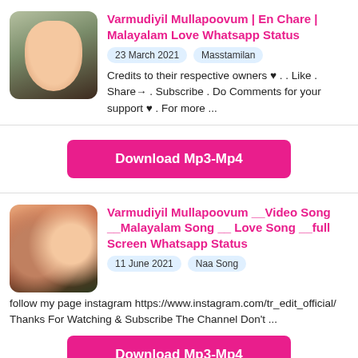[Figure (photo): Thumbnail image of a young woman smiling, dark rounded square]
Varmudiyil Mullapoovum | En Chare | Malayalam Love Whatsapp Status
23 March 2021   Masstamilan
Credits to their respective owners ♥ . . Like . Share→ . Subscribe . Do Comments for your support ♥ . For more ...
[Figure (other): Download Mp3-Mp4 button]
[Figure (photo): Thumbnail image of a couple, colorful background with Malayalam text]
Varmudiyil Mullapoovum __Video Song __Malayalam Song __ Love Song __full Screen Whatsapp Status
11 June 2021   Naa Song
follow my page instagram https://www.instagram.com/tr_edit_official/ Thanks For Watching & Subscribe The Channel Don't ...